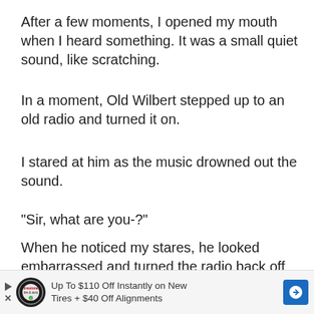After a few moments, I opened my mouth when I heard something. It was a small quiet sound, like scratching.
In a moment, Old Wilbert stepped up to an old radio and turned it on.
I stared at him as the music drowned out the sound.
“Sir, what are you-?”
When he noticed my stares, he looked embarrassed and turned the radio back off again.
“Well, that’s another reason the place’s so cheap.”
[Figure (other): Advertisement banner: Up To $110 Off Instantly on New Tires + $40 Off Alignments with Firestone Auto Care logo and blue arrow button]